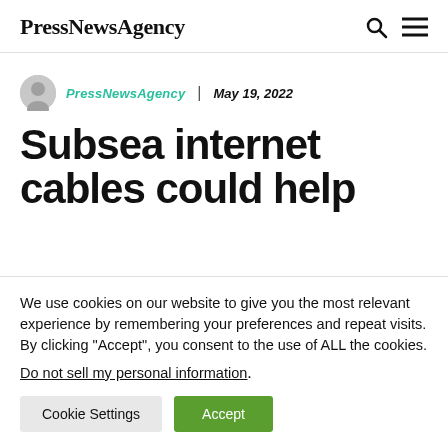PressNewsAgency
PressNewsAgency | May 19, 2022
Subsea internet cables could help
We use cookies on our website to give you the most relevant experience by remembering your preferences and repeat visits. By clicking “Accept”, you consent to the use of ALL the cookies. Do not sell my personal information.